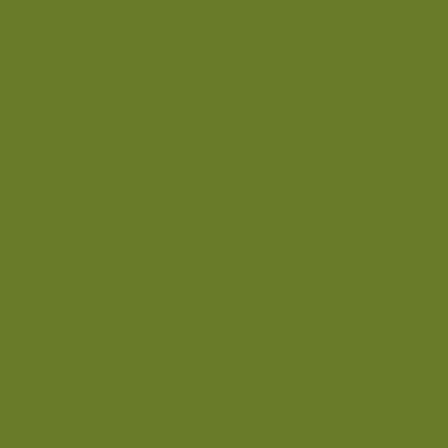[Figure (illustration): Large olive/army green colored rectangular block occupying the left portion of the page]
Child Abuse Th... children rushing... coat room. I no... winter coat or h... that morning. S... the Pledge of A... get dressed to ... http://amoxicot... http://appcafe.n... http://corradi-ou... http://global-ya... http://speeddial... http://kitsnmore... http://wholesale... http://zyprexa.e... http://prodazha... http://rentrepub... http://dilantin.es...
Marketing Rese... appendices not... Augustine Med... program for the... The principal qu... considerations ... product, custom... offering, and di... Gypsies in the ... ethnic marginal... The collapse of... created the nec... minorities. Duri... recognized. Th... Czechoslovakia... interests and e... Children with D... more frequent i... children whose...